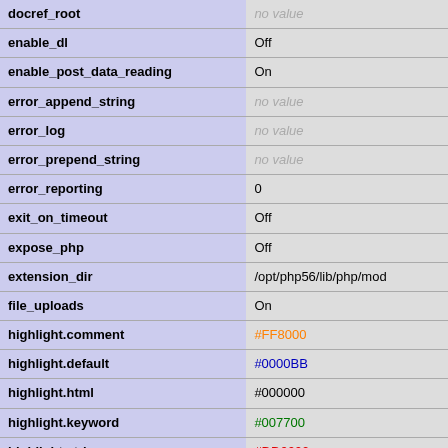| Directive | Value |
| --- | --- |
| docref_root | no value |
| enable_dl | Off |
| enable_post_data_reading | On |
| error_append_string | no value |
| error_log | no value |
| error_prepend_string | no value |
| error_reporting | 0 |
| exit_on_timeout | Off |
| expose_php | Off |
| extension_dir | /opt/php56/lib/php/mod |
| file_uploads | On |
| highlight.comment | #FF8000 |
| highlight.default | #0000BB |
| highlight.html | #000000 |
| highlight.keyword | #007700 |
| highlight.string | #DD0000 |
| html_errors | On |
| ignore_repeated_errors | Off |
| ignore_repeated_source | Off |
| ignore_user_abort | Off |